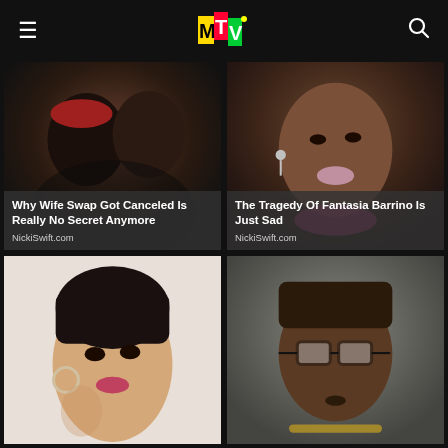MTV
[Figure (photo): Two people kissing, one wearing a red cap]
Why Wife Swap Got Canceled Is Really No Secret Anymore
NickiSwift.com
[Figure (photo): Close-up portrait of Fantasia Barrino with pink floral necklace]
The Tragedy Of Fantasia Barrino Is Just Sad
NickiSwift.com
[Figure (photo): Woman with short dark hair and large hoop earring posing glamorously]
[Figure (photo): Man with glasses and braided hair wearing gold chain]